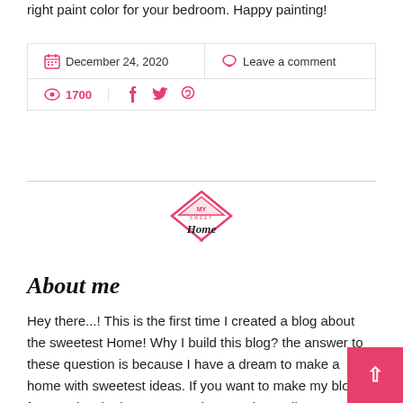right paint color for your bedroom. Happy painting!
December 24, 2020   Leave a comment   1700
[Figure (logo): My Sweet Home blog logo — diamond/house shape with text 'My Sweet Home' in pink and black]
About me
Hey there...! This is the first time I created a blog about the sweetest Home! Why I build this blog? the answer to these question is because I have a dream to make a home with sweetest ideas. If you want to make my blog for your inspiration I am very happy. That's all I wanted say to you, well now let's get to created your sweetest